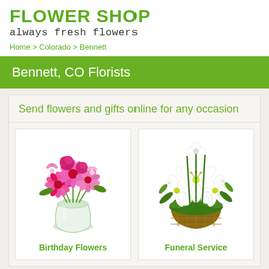FLOWER SHOP
always fresh flowers
Home > Colorado > Bennett
Bennett, CO Florists
Send flowers and gifts online for any occasion
[Figure (photo): Pink and magenta birthday flower bouquet in a clear glass vase]
Birthday Flowers
[Figure (photo): White lily and carnation funeral flower arrangement in a wicker basket]
Funeral Service